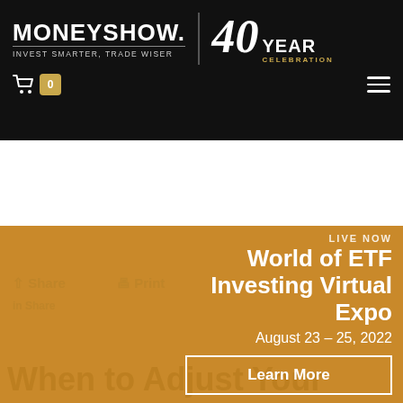MONEYSHOW. INVEST SMARTER, TRADE WISER | 40 YEAR CELEBRATION
[Figure (logo): MoneyShow logo with tagline 'INVEST SMARTER, TRADE WISER' and '40 YEAR CELEBRATION' badge]
LIVE NOW
World of ETF Investing Virtual Expo
August 23 – 25, 2022
Learn More
Not Interested
When to Adjust Your